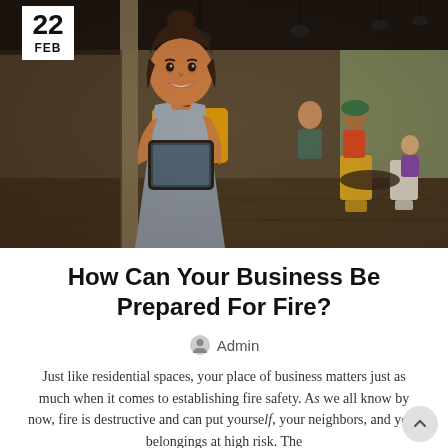[Figure (photo): A smiling woman wearing a yellow shirt and grey apron holding a tablet, standing at the entrance of a modern restaurant cafe with yellow chairs and pendant lights in the background.]
How Can Your Business Be Prepared For Fire?
Admin
Just like residential spaces, your place of business matters just as much when it comes to establishing fire safety. As we all know by now, fire is destructive and can put yourself, your neighbors, and your belongings at high risk. The